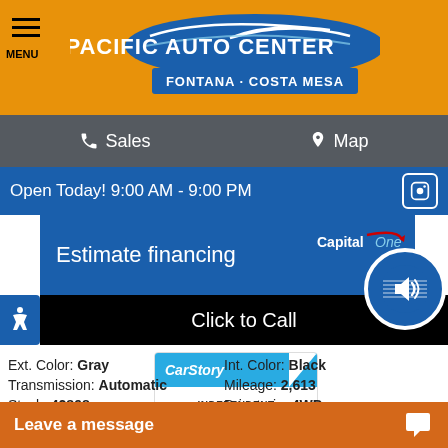[Figure (logo): Pacific Auto Center logo with text FONTANA - COSTA MESA on orange background with menu icon]
Sales | Map
Open Today! 9:00 AM - 9:00 PM
Estimate financing
Click to Call
[Figure (logo): CarStory - INDEPENDENT VEHICLE DATA badge]
Ext. Color: Gray
Transmission: Automatic
Stock: 42898
Engine: 6 Cylinders
VIN W1W4EBVY2MP4...
Int. Color: Black
Mileage: 2,613
Drivetrain: 4WD
Leave a message